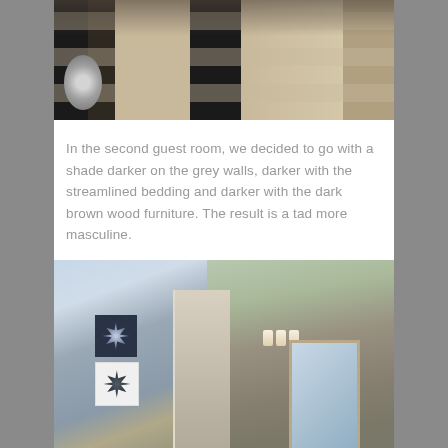[Figure (photo): Bedroom photo showing a bed with streamlined black and cream/beige striped bedding, dark brown wood furniture, and a decorative silver spherical lamp on the nightstand]
In the second guest room, we decided to go with a shade darker on the grey walls, darker with the streamlined bedding and darker with the dark brown wood furniture. The result is a tad more masculine.
[Figure (photo): Interior photo showing grey walls with two framed botanical artworks (one dark navy, one white), a bathroom area visible with wall-mounted light fixture and mirror]